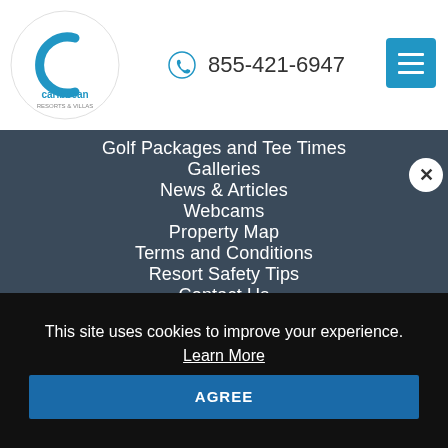[Figure (logo): Caribbean Resorts & Villas logo inside a white circle]
855-421-6947
Golf Packages and Tee Times
Galleries
News & Articles
Webcams
Property Map
Terms and Conditions
Resort Safety Tips
Contact Us
This site uses cookies to improve your experience.
Learn More
AGREE